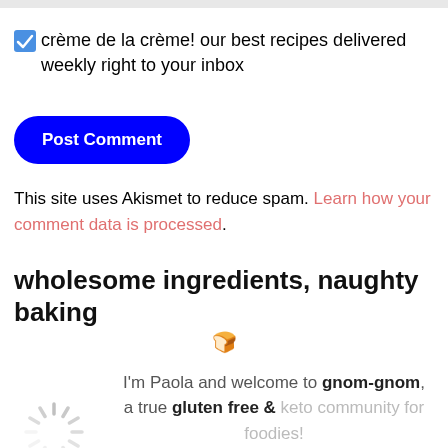☑ crème de la crème! our best recipes delivered weekly right to your inbox
Post Comment
This site uses Akismet to reduce spam. Learn how your comment data is processed.
wholesome ingredients, naughty baking 🍞
I'm Paola and welcome to gnom-gnom, a true gluten free & keto community for foodies!